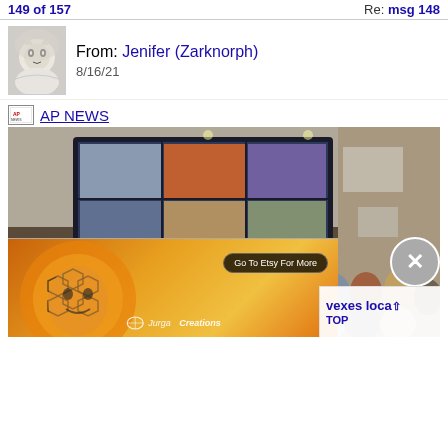149 of 157    Re: msg 148
From: Jenifer (Zarknorph)
8/16/21
AP NEWS
[Figure (photo): Crowded conference room with people watching a large TV screen displaying a video grid. An advertisement banner overlays the bottom showing an artistic sun/bee illustration with 'Go To Etsy For More' button and 'Jurga Creations' logo. A close button (X) appears at bottom right.]
vexes loca
TOP